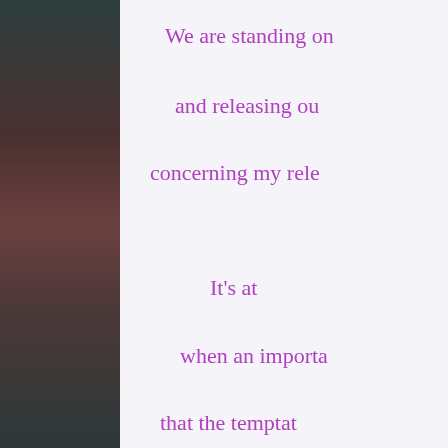[Figure (photo): Left sidebar with blurred gradient image in dark teal, brown and muted tones]
We are standing on
and releasing ou
concerning my rele

It's at
when an importa
that the temptat

Times such a
would m
B
where
brin